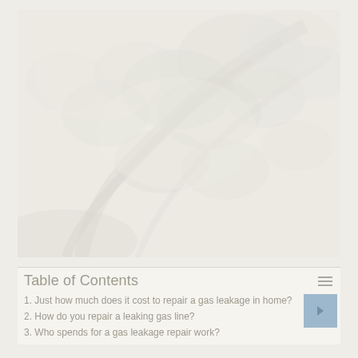[Figure (photo): Faded/washed-out photo of tree branches with foliage against a light background, very low saturation and high brightness giving an almost white appearance]
Table of Contents
1. Just how much does it cost to repair a gas leakage in home?
2. How do you repair a leaking gas line?
3. Who spends for a gas leakage repair work?